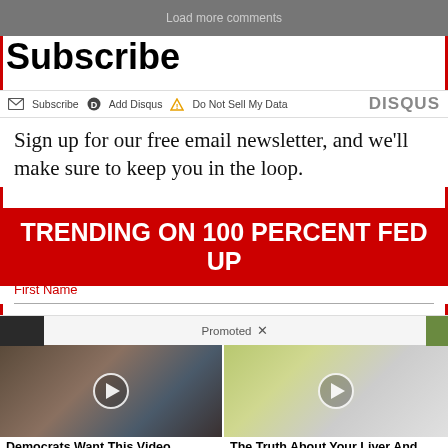Load more comments
Subscribe
Subscribe  Add Disqus  Do Not Sell My Data  DISQUS
Sign up for our free email newsletter, and we'll make sure to keep you in the loop.
TRENDING ON 100 PERCENT FED UP
First Name
Promoted X
[Figure (photo): Video thumbnail showing Melania and Donald Trump with play button overlay]
[Figure (photo): Video thumbnail showing a woman in white coat and yellow/green object with play button overlay]
Democrats Want This Video Destroyed — Watch Now Before It's Banned
186,439
The Truth About Your Liver And Belly Fat
7,006